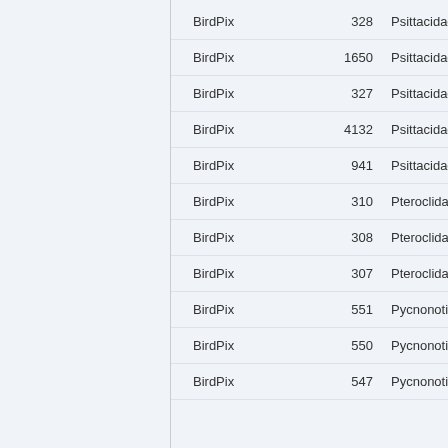| BirdPix | 328 | Psittacidae |
| BirdPix | 1650 | Psittacidae |
| BirdPix | 327 | Psittacidae |
| BirdPix | 4132 | Psittacidae |
| BirdPix | 941 | Psittacidae |
| BirdPix | 310 | Pteroclidae |
| BirdPix | 308 | Pteroclidae |
| BirdPix | 307 | Pteroclidae |
| BirdPix | 551 | Pycnonotidae |
| BirdPix | 550 | Pycnonotidae |
| BirdPix | 547 | Pycnonotidae |